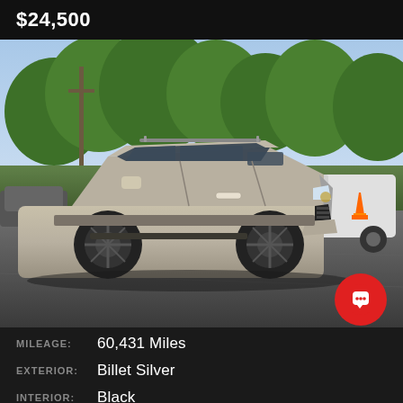$24,500
[Figure (photo): A silver Dodge Journey SUV parked in a car dealership lot. The vehicle has black alloy wheels, seen from a front three-quarter angle. Other vehicles are visible in the background, along with trees and a blue sky. A red traffic cone is visible on the right side.]
| MILEAGE: | 60,431 Miles |
| EXTERIOR: | Billet Silver |
| INTERIOR: | Black |